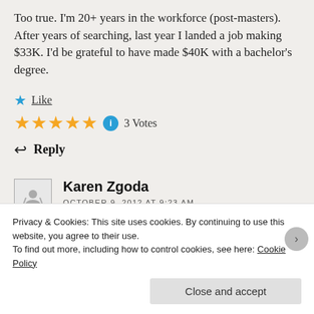Too true. I'm 20+ years in the workforce (post-masters). After years of searching, last year I landed a job making $33K. I'd be grateful to have made $40K with a bachelor's degree.
★ Like
★★★★★ ℹ 3 Votes
↩ Reply
Karen Zgoda
OCTOBER 9, 2012 AT 9:23 AM
Privacy & Cookies: This site uses cookies. By continuing to use this website, you agree to their use.
To find out more, including how to control cookies, see here: Cookie Policy
Close and accept